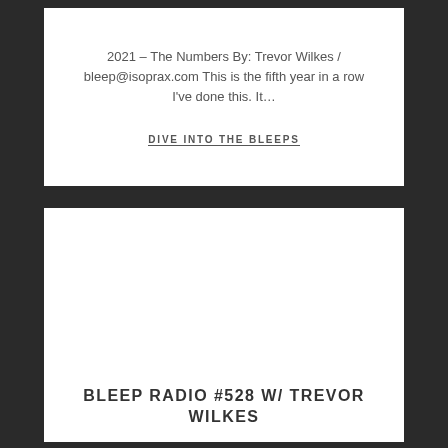2021 – The Numbers By: Trevor Wilkes / bleep@isoprax.com This is the fifth year in a row I've done this. It…
DIVE INTO THE BLEEPS
[Figure (other): White card with large empty area above bottom title text]
BLEEP RADIO #528 W/ TREVOR WILKES